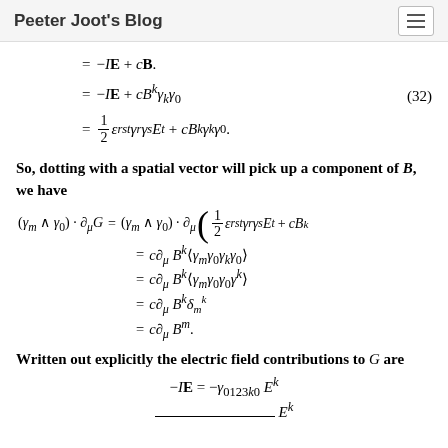Peeter Joot's Blog
So, dotting with a spatial vector will pick up a component of B, we have
Written out explicitly the electric field contributions to G are